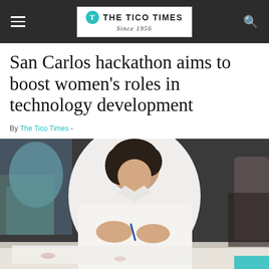THE TICO TIMES Since 1956
San Carlos hackathon aims to boost women's roles in technology development
By The Tico Times -
[Figure (photo): A young woman in a white shirt leaning over a table, writing or drawing something with a pen, appearing to be working on a hackathon project.]